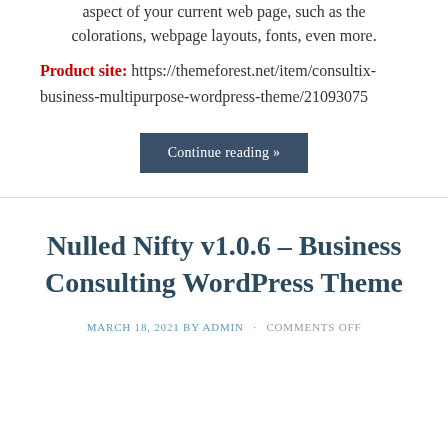aspect of your current web page, such as the colorations, webpage layouts, fonts, even more.
Product site: https://themeforest.net/item/consultix-business-multipurpose-wordpress-theme/21093075
Continue reading »
Nulled Nifty v1.0.6 – Business Consulting WordPress Theme
MARCH 18, 2021 BY ADMIN · COMMENTS OFF